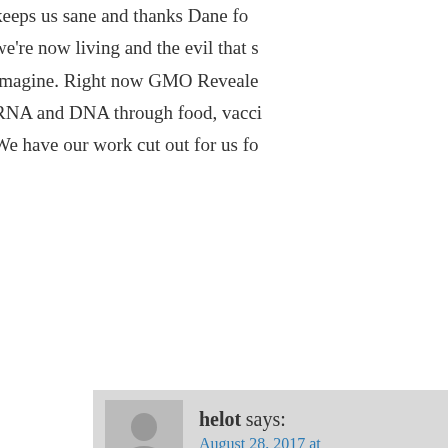keeps us sane and thanks Dane fo we're now living and the evil that s imagine. Right now GMO Reveale RNA and DNA through food, vacci We have our work cut out for us fo
helot says: August 28, 2017 at
Dear renate (BC), Along wit potassium from a banana, a reducing leg cramps.
Here are two of THE BEST calcium intake:
What You Need To Know Ab
https://www.lewrockwell.con know-about-v